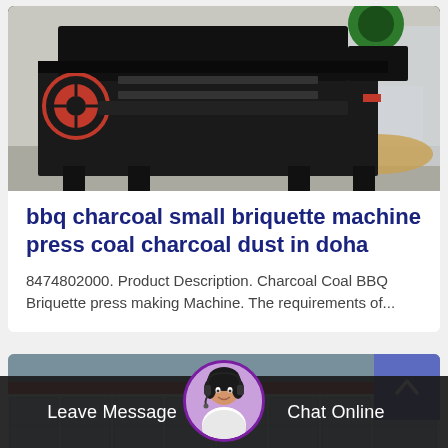[Figure (photo): Industrial coal briquette press machine, heavy black metallic equipment with red wheel and green motor component, with PTM logo visible in background]
bbq charcoal small briquette machine press coal charcoal dust in doha
8474802000. Product Description. Charcoal Coal BBQ Briquette press making Machine. The requirements of...
[Figure (photo): Industrial building facade with red stripe and panel windows, partially visible]
Leave Message
Chat Online